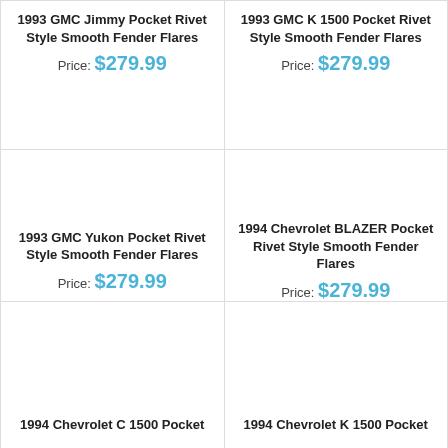1993 GMC Jimmy Pocket Rivet Style Smooth Fender Flares
Price: $279.99
1993 GMC K 1500 Pocket Rivet Style Smooth Fender Flares
Price: $279.99
1993 GMC Yukon Pocket Rivet Style Smooth Fender Flares
Price: $279.99
1994 Chevrolet BLAZER Pocket Rivet Style Smooth Fender Flares
Price: $279.99
1994 Chevrolet C 1500 Pocket
1994 Chevrolet K 1500 Pocket